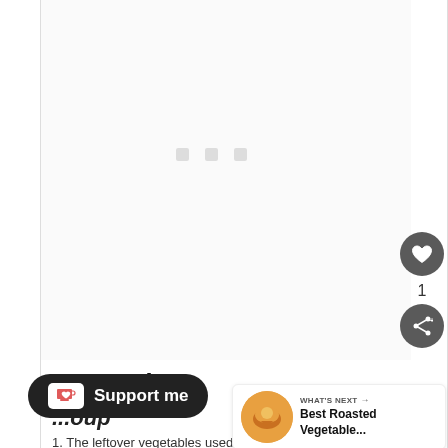[Figure (screenshot): White content area with three small light gray square loading dots/placeholders in the upper-middle portion]
[Figure (other): Dark circular heart/favorite button icon on right sidebar]
1
[Figure (other): Dark circular share button icon on right sidebar]
Instructions
...oup
[Figure (other): Support me button with coffee cup icon]
[Figure (other): What's next panel showing Best Roasted Vegetable... with food thumbnail]
1.  The leftover vegetables used for the soup pot